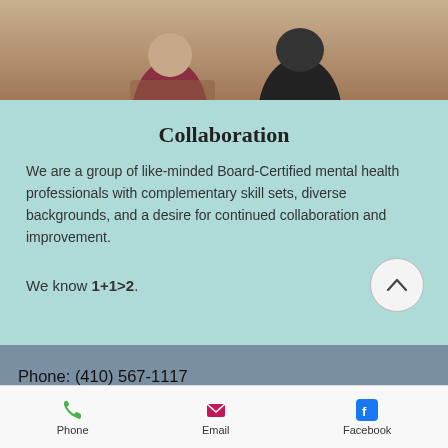[Figure (photo): Cropped photo showing two people seated, partially visible from torso down, one in dark clothing and one in maroon/burgundy clothing]
Collaboration
We are a group of like-minded Board-Certified mental health professionals with complementary skill sets, diverse backgrounds, and a desire for continued collaboration and improvement.
We know 1+1>2.
Phone: (410) 567-1117
Fax: (443) 377-1538
Email: welcome@cmhcweb.com
[Figure (logo): Social media icons row: Facebook, Twitter, Instagram, LinkedIn, YouTube, Pinterest]
Phone   Email   Facebook